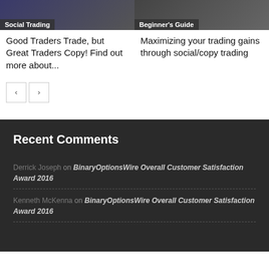[Figure (photo): Social Trading article thumbnail - dark blue/purple tinted image]
Social Trading
[Figure (photo): Beginner's Guide article thumbnail - dark grey tinted image]
Beginner's Guide
Good Traders Trade, but Great Traders Copy! Find out more about...
Maximizing your trading gains through social/copy trading
< >
Recent Comments
Derrick Joseph on BinaryOptionsWire Overall Customer Satisfaction Award 2016
Kenneth McKenna on BinaryOptionsWire Overall Customer Satisfaction Award 2016